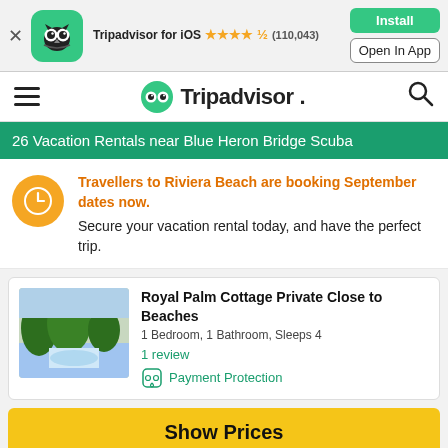[Figure (screenshot): Tripadvisor app banner with owl icon, star rating (110,043 reviews), Install and Open In App buttons]
Tripadvisor
26 Vacation Rentals near Blue Heron Bridge Scuba
Travellers to Riviera Beach are booking September dates now. Secure your vacation rental today, and have the perfect trip.
Royal Palm Cottage Private Close to Beaches
1 Bedroom, 1 Bathroom, Sleeps 4
1 review
Payment Protection
Show Prices